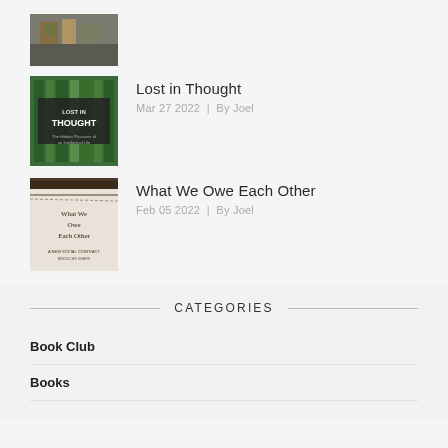[Figure (photo): Thumbnail image of a market or bookstore scene at top]
[Figure (photo): Book cover thumbnail for 'Lost in Thought' with green shelves design]
Lost in Thought
Mar 27 2022  |  By Joel
[Figure (photo): Book cover thumbnail for 'What We Owe Each Other' with barbed wire and text]
What We Owe Each Other
Feb 05 2022  |  By Joel
CATEGORIES
Book Club
Books